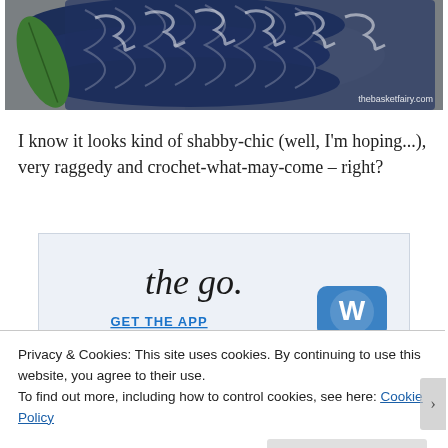[Figure (photo): Photo of a dark navy blue chunky knitted or crocheted basket on a stone/concrete surface with a green leaf visible on the left. Watermark reads 'thebasketfairy.com' in bottom right.]
I know it looks kind of shabby-chic (well, I'm hoping...), very raggedy and crochet-what-may-come – right?
[Figure (screenshot): Advertisement banner with light blue background showing 'the go.' in italic serif font and 'GET THE APP' in blue uppercase text, with a WordPress app icon on the right.]
Privacy & Cookies: This site uses cookies. By continuing to use this website, you agree to their use.
To find out more, including how to control cookies, see here: Cookie Policy
Close and accept